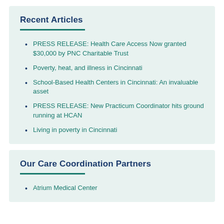Recent Articles
PRESS RELEASE: Health Care Access Now granted $30,000 by PNC Charitable Trust
Poverty, heat, and illness in Cincinnati
School-Based Health Centers in Cincinnati: An invaluable asset
PRESS RELEASE: New Practicum Coordinator hits ground running at HCAN
Living in poverty in Cincinnati
Our Care Coordination Partners
Atrium Medical Center